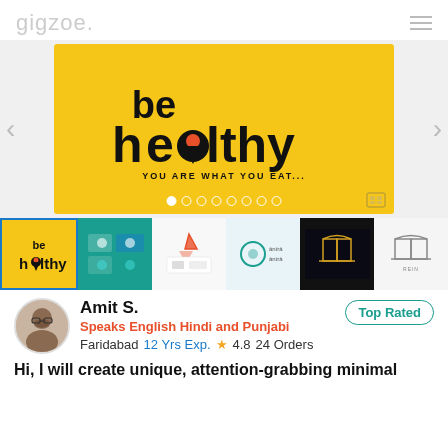gigzoe.
[Figure (screenshot): Portfolio image slider showing 'be healthy — YOU ARE WHAT YOU EAT...' logo on yellow background with carousel dots and navigation arrows]
[Figure (screenshot): Row of 6 thumbnail portfolio preview images]
Amit S.
Speaks English Hindi and Punjabi
Faridabad   12 Yrs Exp.   ★ 4.8   24 Orders
Top Rated
Hi, I will create unique, attention-grabbing minimal